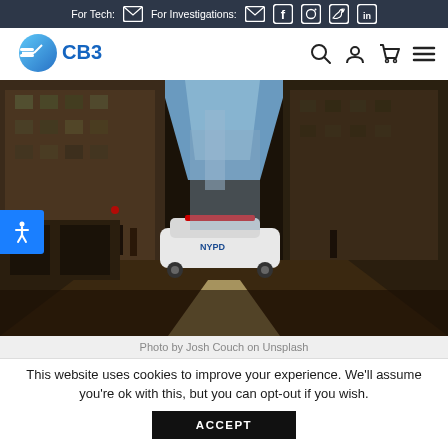For Tech: [email icon]  For Investigations: [email icon] [facebook] [instagram] [twitter] [linkedin]
[Figure (logo): CB3 logo with blue gradient speedometer-style icon and stylized 'CB3' text]
[Figure (photo): Street-level photo of a New York City block with tall buildings on either side, an NYPD police car in the middle distance, and bright sky at the end of the street. Shot from road level showing white road markings.]
Photo by Josh Couch on Unsplash
This website uses cookies to improve your experience. We'll assume you're ok with this, but you can opt-out if you wish.
ACCEPT